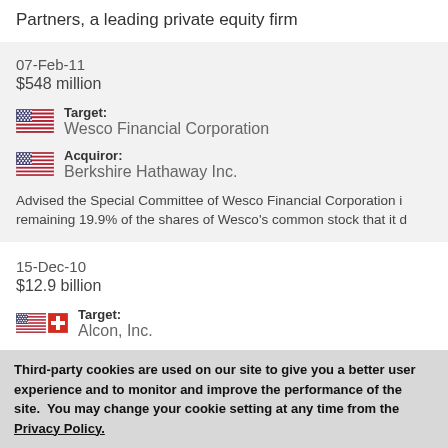Partners, a leading private equity firm
07-Feb-11
$548 million
Target: Wesco Financial Corporation
Acquiror: Berkshire Hathaway Inc.
Advised the Special Committee of Wesco Financial Corporation in remaining 19.9% of the shares of Wesco's common stock that it d
15-Dec-10
$12.9 billion
Target: Alcon, Inc.
Third-party cookies are used on our site to give you a better user experience and to monitor and improve the performance of the site.  You may change your cookie setting at any time from the Privacy Policy.